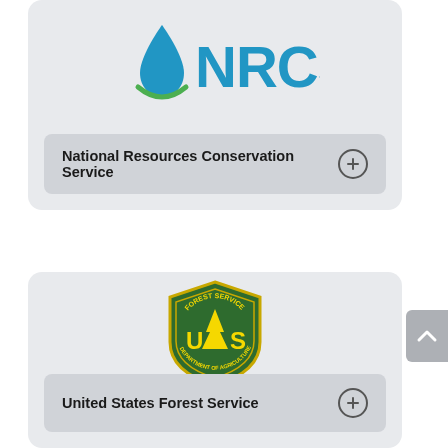[Figure (logo): NRCS logo: blue water drop icon with green swoosh and blue text 'NRCS']
National Resources Conservation Service
[Figure (logo): US Forest Service shield badge: green shield with yellow 'FOREST SERVICE' at top, 'US' with pine tree, 'DEPARTMENT OF AGRICULTURE' around border]
United States Forest Service